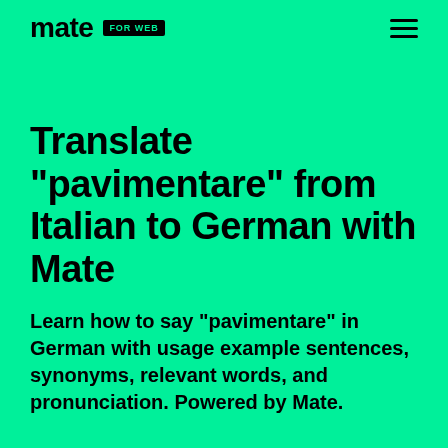mate FOR WEB
Translate "pavimentare" from Italian to German with Mate
Learn how to say "pavimentare" in German with usage example sentences, synonyms, relevant words, and pronunciation. Powered by Mate.